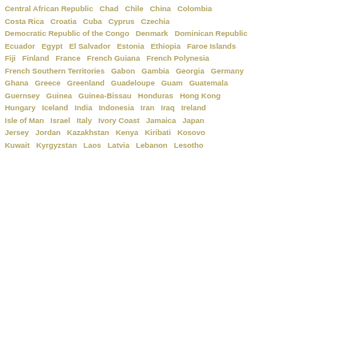Central African Republic  Chad  Chile  China  Colombia
Costa Rica  Croatia  Cuba  Cyprus  Czechia
Democratic Republic of the Congo  Denmark  Dominican Republic
Ecuador  Egypt  El Salvador  Estonia  Ethiopia  Faroe Islands
Fiji  Finland  France  French Guiana  French Polynesia
French Southern Territories  Gabon  Gambia  Georgia  Germany
Ghana  Greece  Greenland  Guadeloupe  Guam  Guatemala
Guernsey  Guinea  Guinea-Bissau  Honduras  Hong Kong
Hungary  Iceland  India  Indonesia  Iran  Iraq  Ireland
Isle of Man  Israel  Italy  Ivory Coast  Jamaica  Japan
Jersey  Jordan  Kazakhstan  Kenya  Kiribati  Kosovo
Kuwait  Kyrgyzstan  Laos  Latvia  Lebanon  Lesotho